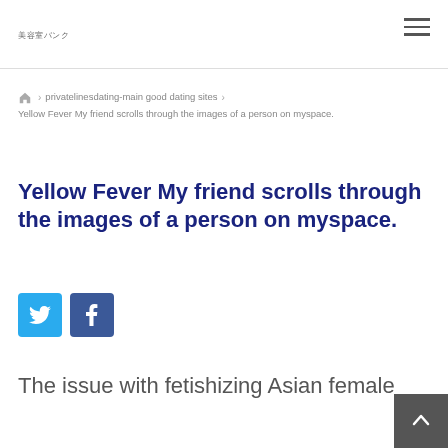美容室バンク
privatelinesdating-main good dating sites › Yellow Fever My friend scrolls through the images of a person on myspace.
Yellow Fever My friend scrolls through the images of a person on myspace.
[Figure (other): Twitter and Facebook social share buttons]
The issue with fetishizing Asian female